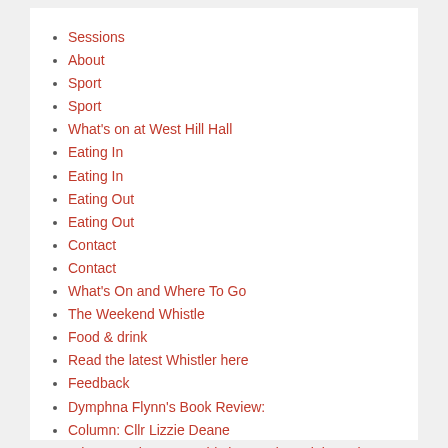Sessions
About
Sport
Sport
What's on at West Hill Hall
Eating In
Eating In
Eating Out
Eating Out
Contact
Contact
What's On and Where To Go
The Weekend Whistle
Food & drink
Read the latest Whistler here
Feedback
Dymphna Flynn's Book Review:
Column: Cllr Lizzie Deane
Where to whet your Whistle: Food & Drink Reviews
Brighton Fringe